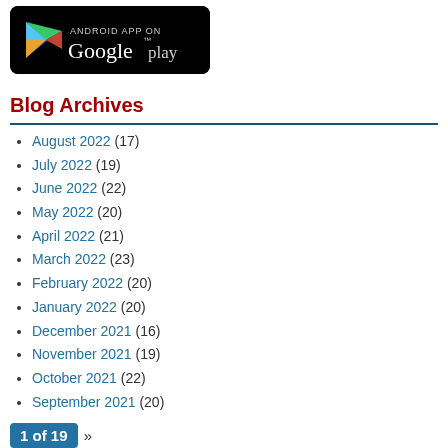[Figure (logo): Google Play Store badge: black rounded rectangle with Play Store logo and text 'ANDROID APP ON Google play']
Blog Archives
August 2022 (17)
July 2022 (19)
June 2022 (22)
May 2022 (20)
April 2022 (21)
March 2022 (23)
February 2022 (20)
January 2022 (20)
December 2021 (16)
November 2021 (19)
October 2021 (22)
September 2021 (20)
1 of 19 »